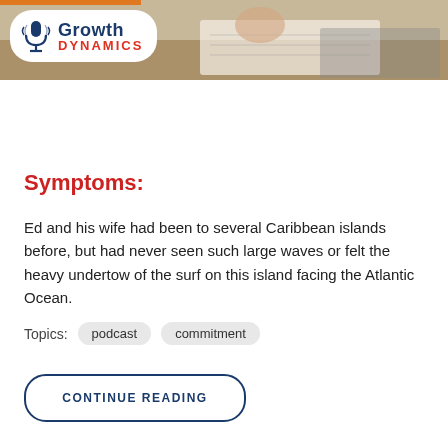[Figure (photo): Growth Dynamics logo on white rounded pill background over a photo banner of a person writing in a notebook near a laptop]
Symptoms:
Ed and his wife had been to several Caribbean islands before, but had never seen such large waves or felt the heavy undertow of the surf on this island facing the Atlantic Ocean.
Topics:  podcast  commitment
CONTINUE READING